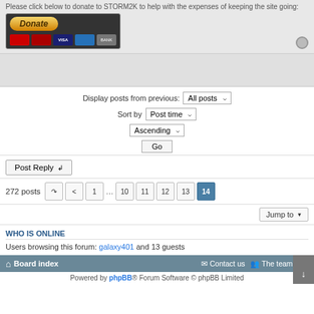Please click below to donate to STORM2K to help with the expenses of keeping the site going:
[Figure (other): PayPal Donate button with credit card icons (Visa, MasterCard, American Express, Discover, Bank)]
Display posts from previous: All posts  Sort by Post time  Ascending  Go
Post Reply
272 posts  < 1 ... 10 11 12 13 14
Jump to
WHO IS ONLINE
Users browsing this forum: galaxy401 and 13 guests
Board index   Contact us   The team   Powered by phpBB® Forum Software © phpBB Limited